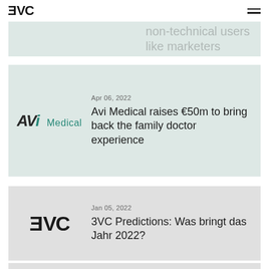3VC
non-technical users like marketers
Apr 06, 2022
Avi Medical raises €50m to bring back the family doctor experience
Jan 05, 2022
3VC Predictions: Was bringt das Jahr 2022?